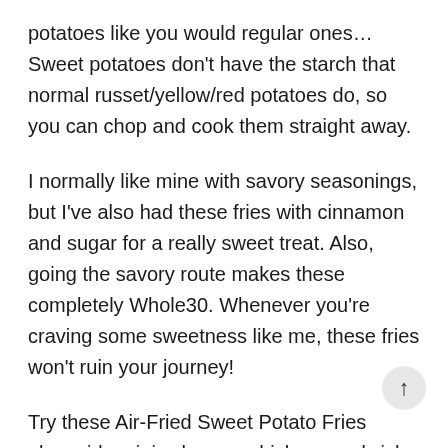potatoes like you would regular ones… Sweet potatoes don't have the starch that normal russet/yellow/red potatoes do, so you can chop and cook them straight away.
I normally like mine with savory seasonings, but I've also had these fries with cinnamon and sugar for a really sweet treat. Also, going the savory route makes these completely Whole30. Whenever you're craving some sweetness like me, these fries won't ruin your journey!
Try these Air-Fried Sweet Potato Fries alongside a juicy burger, chicken sandwich, or wings; it's only four steps!